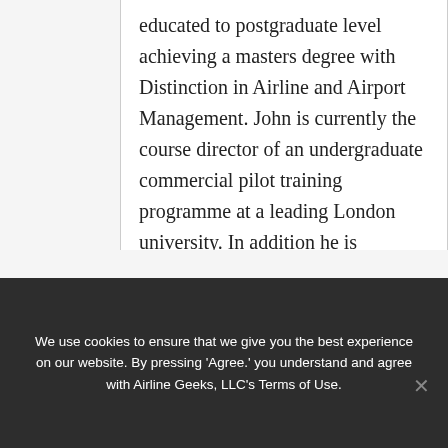educated to postgraduate level achieving a masters degree with Distinction in Airline and Airport Management. John is currently the course director of an undergraduate commercial pilot training programme at a leading London university. In addition he is contracted as an external instructor for IATA (International Air Transport Association) and a member of the Heathrow Community Fund's /Committee for Transport and...
We use cookies to ensure that we give you the best experience on our website. By pressing 'Agree.' you understand and agree with Airline Geeks, LLC's Terms of Use.